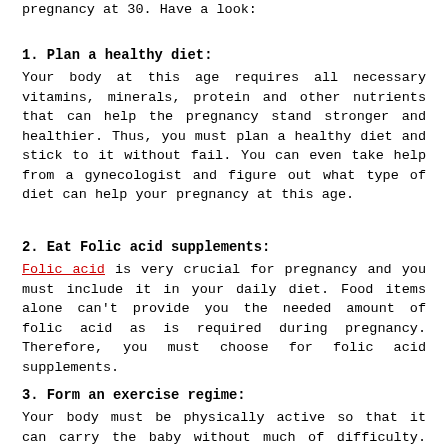pregnancy at 30. Have a look:
1. Plan a healthy diet:
Your body at this age requires all necessary vitamins, minerals, protein and other nutrients that can help the pregnancy stand stronger and healthier. Thus, you must plan a healthy diet and stick to it without fail. You can even take help from a gynecologist and figure out what type of diet can help your pregnancy at this age.
2. Eat Folic acid supplements:
Folic acid is very crucial for pregnancy and you must include it in your daily diet. Food items alone can't provide you the needed amount of folic acid as is required during pregnancy. Therefore, you must choose for folic acid supplements.
3. Form an exercise regime:
Your body must be physically active so that it can carry the baby without much of difficulty. For this, you must form an exercise